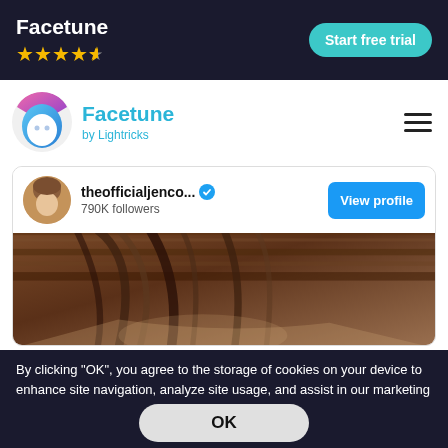Facetune ★★★★½
Start free trial
[Figure (logo): Facetune app logo — circular icon with pink, blue, and white gradient face design]
Facetune by Lightricks
[Figure (screenshot): Instagram profile card for theofficialjenco... with 790K followers and a View profile button, below which is a cropped photo showing hair/face of a person]
By clicking "OK", you agree to the storage of cookies on your device to enhance site navigation, analyze site usage, and assist in our marketing efforts. Read the Cookie Policy
OK